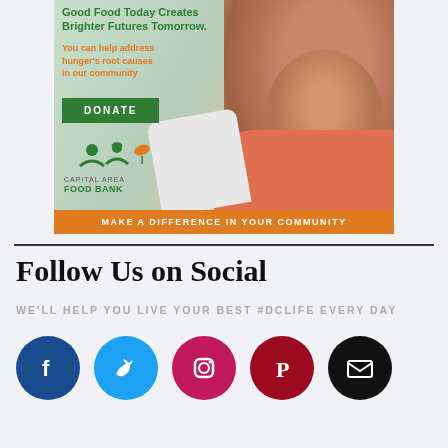[Figure (photo): Capital Area Food Bank advertisement showing a mother and child with text 'Good Food Today Creates Brighter Futures Tomorrow', orange subtitle text, green DONATE button, Food Bank logo, and orange bottom bar reading MAKE A DIFFERENCE IN YOUR COMMUNITY]
Follow Us on Social
WE'LL HELP YOU LIVE YOUR BEST #DCLIFE EVERY DAY
[Figure (infographic): Row of 5 social media icon circles: Facebook (dark blue), Twitter (light blue), Instagram (pink/magenta), Pinterest (dark red), Email (black)]